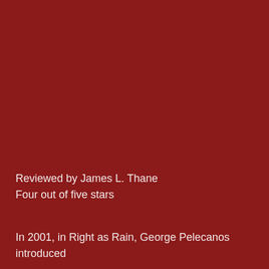Reviewed by James L. Thane
Four out of five stars
In 2001, in Right as Rain, George Pelecanos introduced